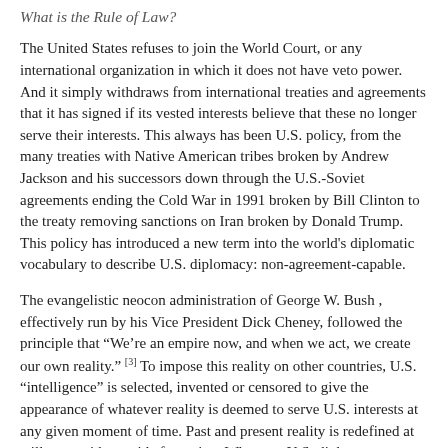What is the Rule of Law?
The United States refuses to join the World Court, or any international organization in which it does not have veto power. And it simply withdraws from international treaties and agreements that it has signed if its vested interests believe that these no longer serve their interests. This always has been U.S. policy, from the many treaties with Native American tribes broken by Andrew Jackson and his successors down through the U.S.-Soviet agreements ending the Cold War in 1991 broken by Bill Clinton to the treaty removing sanctions on Iran broken by Donald Trump. This policy has introduced a new term into the world's diplomatic vocabulary to describe U.S. diplomacy: non-agreement-capable.
The evangelistic neocon administration of George W. Bush , effectively run by his Vice President Dick Cheney, followed the principle that “We’re an empire now, and when we act, we create our own reality.” [3] To impose this reality on other countries, U.S. “intelligence” is selected, invented or censored to give the appearance of whatever reality is deemed to serve U.S. interests at any given moment of time. Past and present reality is redefined at will to provide a guide for action. Whatever U.S. diplomacy